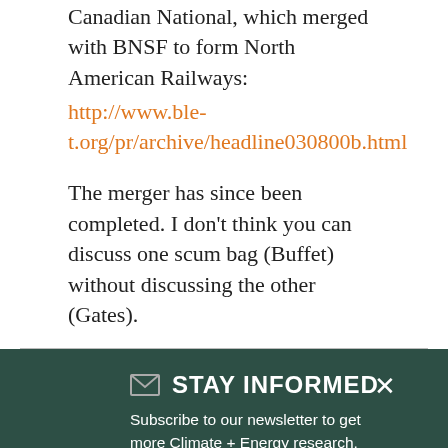Canadian National, which merged with BNSF to form North American Railways:
http://www.ble-t.org/pr/archive/headline030800b.html
The merger has since been completed. I don't think you can discuss one scum bag (Buffet) without discussing the other (Gates).
STAY INFORMED
Subscribe to our newsletter to get more Climate + Energy research, analysis, and other policy updates delivered to your inbox
SIGN UP